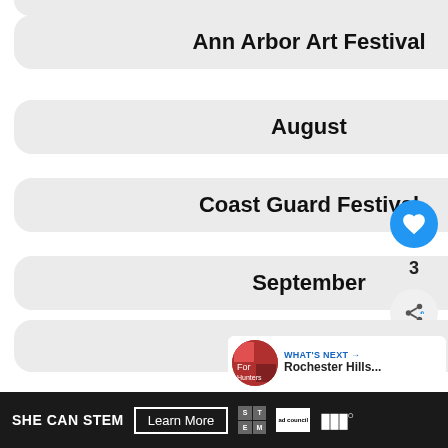Ann Arbor Art Festival
August
Coast Guard Festival
September
October
November
December
Frankenmuth Snowfest
Herbalist Festivals/Events
WHAT'S NEXT → Rochester Hills...
SHE CAN STEM   Learn More